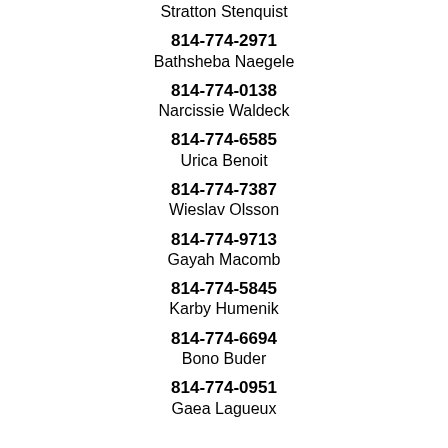Stratton Stenquist
814-774-2971
Bathsheba Naegele
814-774-0138
Narcissie Waldeck
814-774-6585
Urica Benoit
814-774-7387
Wieslav Olsson
814-774-9713
Gayah Macomb
814-774-5845
Karby Humenik
814-774-6694
Bono Buder
814-774-0951
Gaea Lagueux